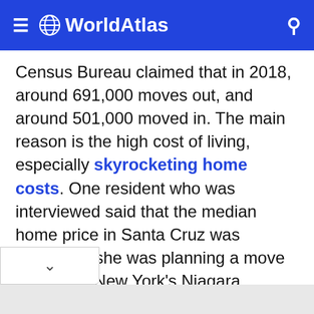WorldAtlas
Census Bureau claimed that in 2018, around 691,000 moves out, and around 501,000 moved in. The main reason is the high cost of living, especially skyrocketing home costs. One resident who was interviewed said that the median home price in Santa Cruz was $827,000; she was planning a move to upstate New York's Niagara County, where median home prices were in the neighborhood of $150 to $155K.
ARTICLE CONTINUES BELOW